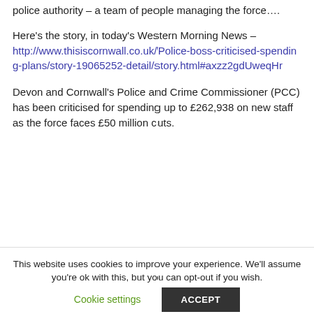police authority – a team of people managing the force….
Here's the story, in today's Western Morning News –
http://www.thisiscornwall.co.uk/Police-boss-criticised-spending-plans/story-19065252-detail/story.html#axzz2gdUweqHr
Devon and Cornwall's Police and Crime Commissioner (PCC) has been criticised for spending up to £262,938 on new staff as the force faces £50 million cuts.
This website uses cookies to improve your experience. We'll assume you're ok with this, but you can opt-out if you wish.
Cookie settings
ACCEPT